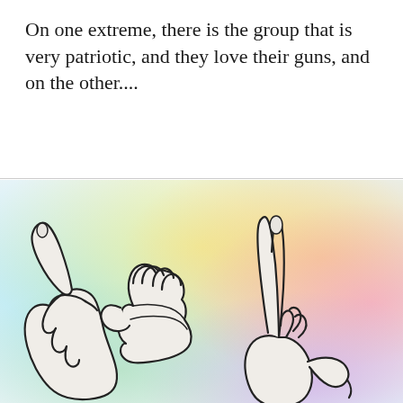On one extreme, there is the group that is very patriotic, and they love their guns, and on the other....
[Figure (illustration): Three hand signs drawn in outline style against a pastel rainbow watercolor background (cyan, yellow, orange, pink, purple). The hands appear to form sign language letters spelling a word.]